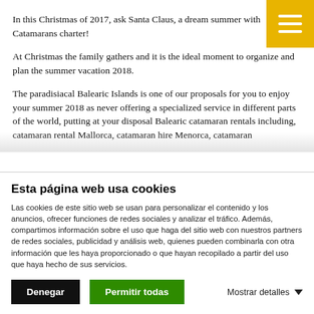In this Christmas of 2017, ask Santa Claus, a dream summer with Catamarans charter!
At Christmas the family gathers and it is the ideal moment to organize and plan the summer vacation 2018.
The paradisiacal Balearic Islands is one of our proposals for you to enjoy your summer 2018 as never offering a specialized service in different parts of the world, putting at your disposal Balearic catamaran rentals including, catamaran rental Mallorca, catamaran hire Menorca, catamaran
Esta página web usa cookies
Las cookies de este sitio web se usan para personalizar el contenido y los anuncios, ofrecer funciones de redes sociales y analizar el tráfico. Además, compartimos información sobre el uso que haga del sitio web con nuestros partners de redes sociales, publicidad y análisis web, quienes pueden combinarla con otra información que les haya proporcionado o que hayan recopilado a partir del uso que haya hecho de sus servicios.
Denegar
Permitir todas
Mostrar detalles